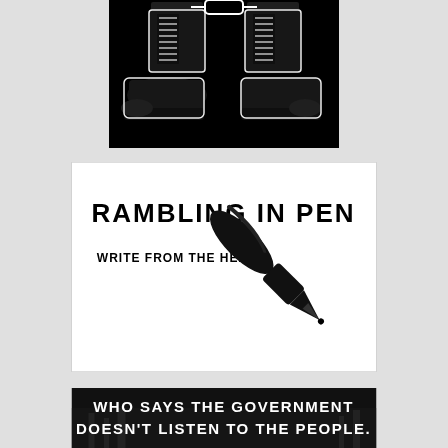[Figure (illustration): Black and white high-contrast image of two legs wearing heavy military or combat boots on a black background, viewed from the knees down, with chain/shackle visible at the top.]
[Figure (illustration): White rectangular panel with bold black text 'RAMBLING IN PEN' at top, smaller bold text 'WRITE FROM THE HEART' in center-left, and a large black fountain pen/nib illustration on the right side.]
[Figure (illustration): Dark banner image with bold white text reading 'WHO SAYS THE GOVERNMENT DOESN'T LISTEN TO THE PEOPLE.' on a dark background with faint city/building imagery.]